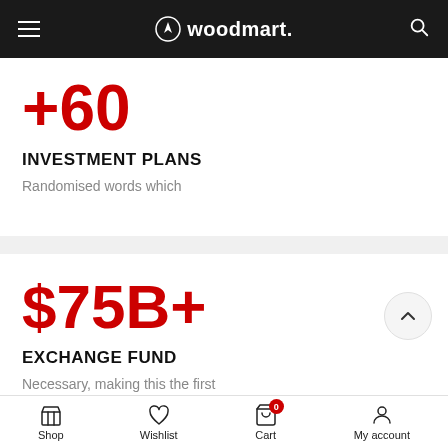woodmart.
+60
INVESTMENT PLANS
Randomised words which
$75B+
EXCHANGE FUND
Necessary, making this the first
Shop  Wishlist  Cart  My account